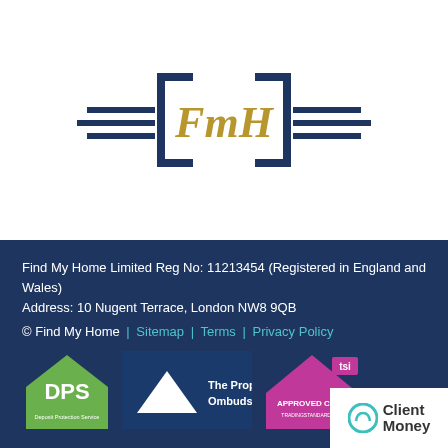[Figure (logo): FmH logo: stylized gold cursive FmH text in center with dark navy blue square bracket decorations and horizontal lines extending left and right]
Find My Home Limited Reg No: 11213454 (Registered in England and Wales)
Address: 10 Nugent Terrace, London NW8 9QB
© Find My Home | Sitemap | Terms | Privacy Policy
[Figure (logo): DPS (Deposit Protection Service) green house-shaped logo]
[Figure (logo): The Property Ombudsman logo with white triangle on dark blue background]
[Figure (logo): TSI Approved Code logo with magenta/pink triangle design]
[Figure (logo): ClientMoney white badge with teal circular icon]